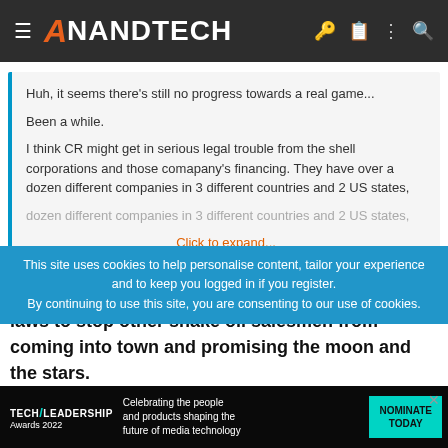AnandTech
Huh, it seems there's still no progress towards a real game...

Been a while.

I think CR might get in serious legal trouble from the shell corporations and those comapany's financing. They have over a dozen different companies in 3 different countries and 2 US states,

Click to expand...
Oh it wont be pretty. I imagine new crowdfunding laws to stop other snake oil salesmen from coming into town and promising the moon and the stars.
This site uses cookies to help personalise content, tailor your experience and to keep you logged in if you register.
By continuing to use this site, you are consenting to our use of cookies.
[Figure (screenshot): Tech Leadership Awards 2022 advertisement banner with teal/cyan accent color and 'NOMINATE TODAY' call to action button]